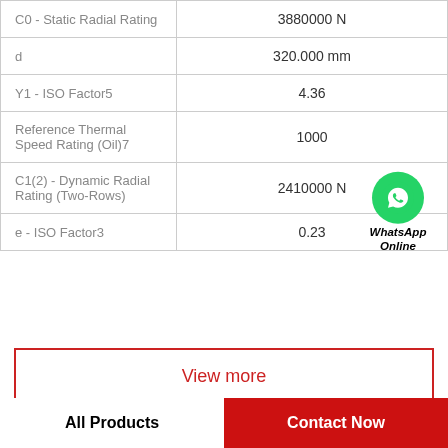| Parameter | Value |
| --- | --- |
| C0 - Static Radial Rating | 3880000 N |
| d | 320.000 mm |
| Y1 - ISO Factor5 | 4.36 |
| Reference Thermal Speed Rating (Oil)7 | 1000 |
| C1(2) - Dynamic Radial Rating (Two-Rows) | 2410000 N |
| e - ISO Factor3 | 0.23 |
View more
All Products
Contact Now